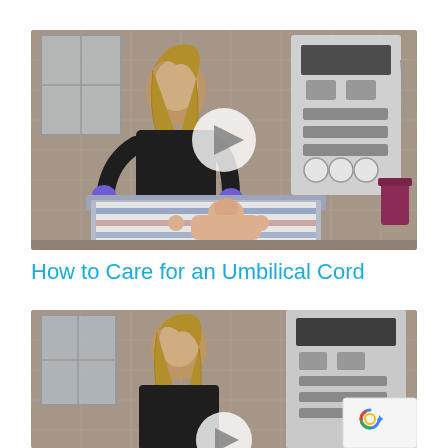[Figure (screenshot): Video thumbnail showing a healthcare worker in black with blue gloves tending to a newborn baby on an examination table in a hospital room with pink tile walls and medical equipment. A white semi-transparent play button circle is centered on the image.]
How to Care for an Umbilical Cord
[Figure (screenshot): Second video thumbnail showing the same healthcare worker in a hospital room, partially cut off at bottom of page. A reCAPTCHA badge with Privacy and Terms text is visible in the bottom right corner.]